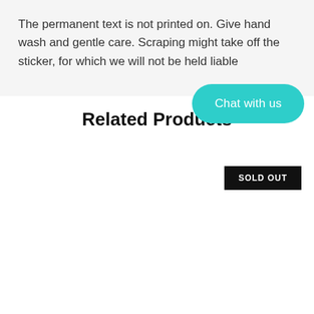The permanent text is not printed on. Give hand wash and gentle care. Scraping might take off the sticker, for which we will not be held liable
Related Products
SOLD OUT
Chat with us